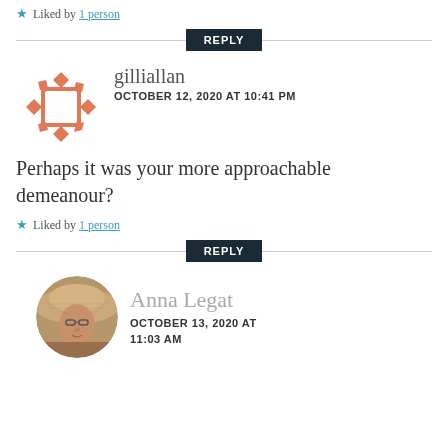★ Liked by 1 person
REPLY
[Figure (illustration): Orange geometric avatar icon — a square rotated 45 degrees with diamond shapes around it in a circular arrangement, on white background]
gilliallan
OCTOBER 12, 2020 AT 10:41 PM
Perhaps it was your more approachable demeanour?
★ Liked by 1 person
REPLY
[Figure (photo): Circular profile photo of Anna Legat, a woman wearing a wide-brimmed straw hat]
Anna Legat
OCTOBER 13, 2020 AT
11:03 AM